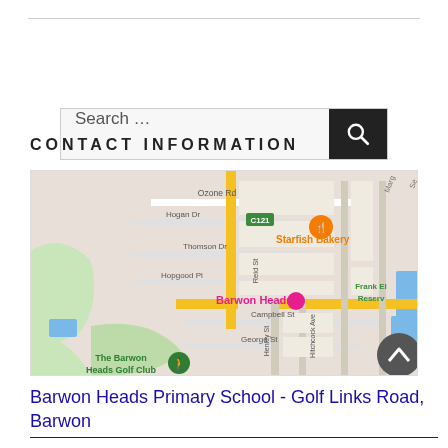[Figure (screenshot): Search bar with magnifying glass icon on dark button]
CONTACT INFORMATION
[Figure (map): Google Maps screenshot showing Barwon Heads area with streets including Hogan Dr, Ozone Rd, Thomson Dr, Hopgood Pl, Reid St, Campbell St, George St, Henley St, Hitchcock Ave, Frank Elliott Reserve, Starfish Bakery marker, Barwon Heads pin, The Barwon Heads Golf Club label, C121 road marker]
Barwon Heads Primary School - Golf Links Road, Barwon